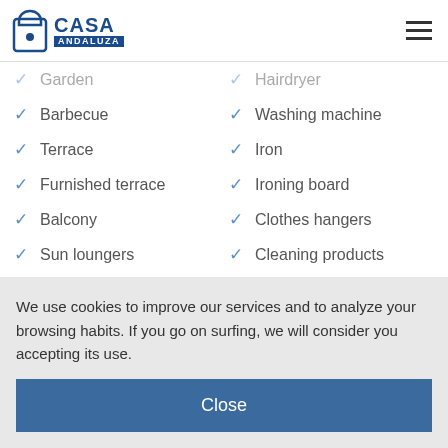Casa Andaluza
Garden
Hairdryer
Barbecue
Washing machine
Terrace
Iron
Furnished terrace
Ironing board
Balcony
Clothes hangers
Sun loungers
Cleaning products
Kitchen
Kitchen
Oven
We use cookies to improve our services and to analyze your browsing habits. If you go on surfing, we will consider you accepting its use.